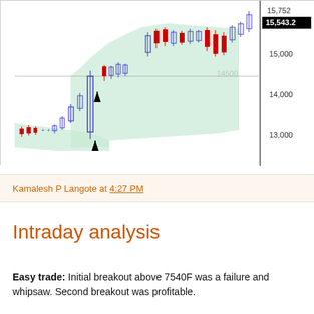[Figure (continuous-plot): Candlestick chart showing intraday price action with a green shaded Ichimoku cloud region. Price ranges from approximately 13,000 to 15,752. Current price label shows 15,543.2 in a black box at top right. A horizontal line at 14,500 is visible. Red and blue candlesticks shown with two black upward arrows indicating buy signals.]
Kamalesh P Langote at 4:27 PM
Intraday analysis
Easy trade: Initial breakout above 7540F was a failure and whipsaw. Second breakout was profitable.